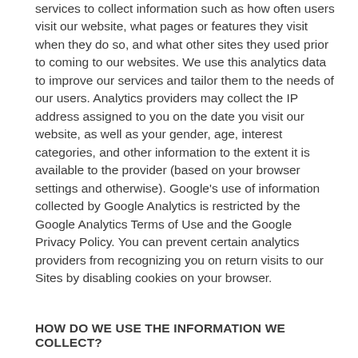services to collect information such as how often users visit our website, what pages or features they visit when they do so, and what other sites they used prior to coming to our websites. We use this analytics data to improve our services and tailor them to the needs of our users. Analytics providers may collect the IP address assigned to you on the date you visit our website, as well as your gender, age, interest categories, and other information to the extent it is available to the provider (based on your browser settings and otherwise). Google’s use of information collected by Google Analytics is restricted by the Google Analytics Terms of Use and the Google Privacy Policy. You can prevent certain analytics providers from recognizing you on return visits to our Sites by disabling cookies on your browser.
HOW DO WE USE THE INFORMATION WE COLLECT?